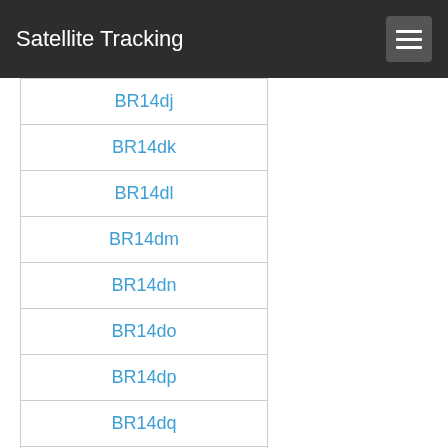Satellite Tracking
BR14dj
BR14dk
BR14dl
BR14dm
BR14dn
BR14do
BR14dp
BR14dq
BR14dr
BR14ds
BR14dt
BR14du
BR14dv
BR14dw
BR14dx
BR14ea
BR14eb
BR14ec